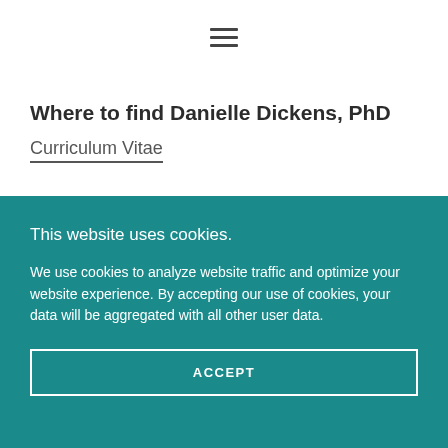[Figure (other): Hamburger menu icon (three horizontal lines) centered at top of page]
Where to find Danielle Dickens, PhD
Curriculum Vitae
This website uses cookies.
We use cookies to analyze website traffic and optimize your website experience. By accepting our use of cookies, your data will be aggregated with all other user data.
ACCEPT